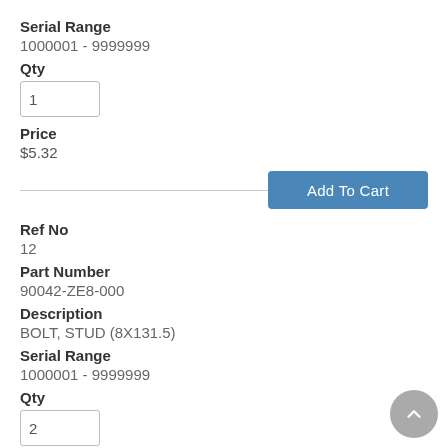Serial Range
1000001 - 9999999
Qty
1
Price
$5.32
Add To Cart
Ref No
12
Part Number
90042-ZE8-000
Description
BOLT, STUD (8X131.5)
Serial Range
1000001 - 9999999
Qty
2
Price